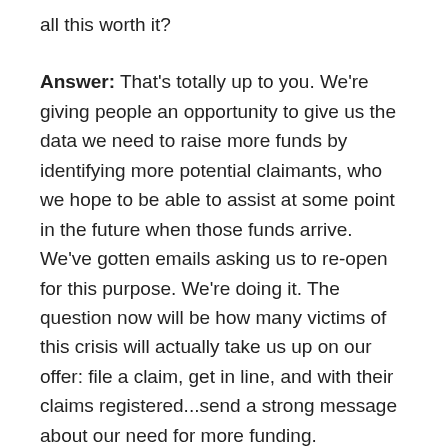all this worth it?
Answer: That's totally up to you. We're giving people an opportunity to give us the data we need to raise more funds by identifying more potential claimants, who we hope to be able to assist at some point in the future when those funds arrive. We've gotten emails asking us to re-open for this purpose. We're doing it. The question now will be how many victims of this crisis will actually take us up on our offer: file a claim, get in line, and with their claims registered...send a strong message about our need for more funding.
The CHFA Credit